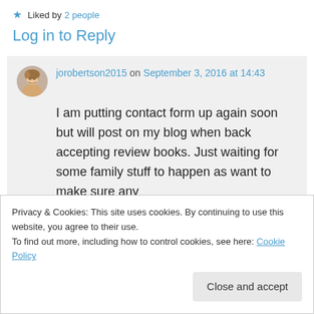★ Liked by 2 people
Log in to Reply
jorobertson2015 on September 3, 2016 at 14:43
I am putting contact form up again soon but will post on my blog when back accepting review books. Just waiting for some family stuff to happen as want to make sure any
Privacy & Cookies: This site uses cookies. By continuing to use this website, you agree to their use.
To find out more, including how to control cookies, see here: Cookie Policy
Close and accept